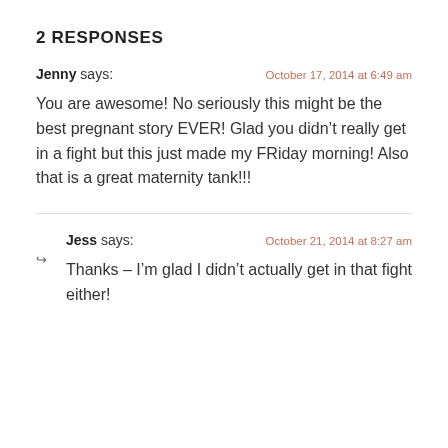2 RESPONSES
Jenny says:  October 17, 2014 at 6:49 am
You are awesome! No seriously this might be the best pregnant story EVER! Glad you didn’t really get in a fight but this just made my FRiday morning! Also that is a great maternity tank!!!
Jess says:  October 21, 2014 at 8:27 am
Thanks – I’m glad I didn’t actually get in that fight either!